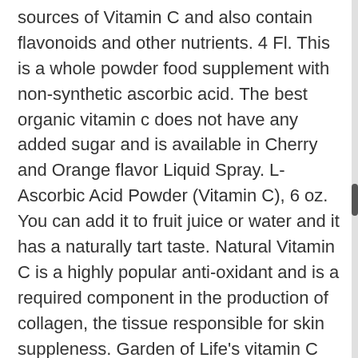sources of Vitamin C and also contain flavonoids and other nutrients. 4 Fl. This is a whole powder food supplement with non-synthetic ascorbic acid. The best organic vitamin c does not have any added sugar and is available in Cherry and Orange flavor Liquid Spray. L-Ascorbic Acid Powder (Vitamin C), 6 oz. You can add it to fruit juice or water and it has a naturally tart taste. Natural Vitamin C is a highly popular anti-oxidant and is a required component in the production of collagen, the tissue responsible for skin suppleness. Garden of Life's vitamin C spray is made from a variety of 100% organic, whole foods like strawberries, blueberries, and tart cherries. All ingredients in this Vitamin C are sourced from clean and safe environments. Best Vitamin C Serum for Face & Eyes, Organic & Natural, with Vitamin E, Hyaluronic & Ferulic Acid, Anti-Aging Products for Radiant Skin, 20% Serum Effectively Reduces Skin Discoloration & Wrinkles! Additionally, this organic vitamin c complex is released gradually over time to allow your body to absorb more of it. They use only pure, organic ingredients. This